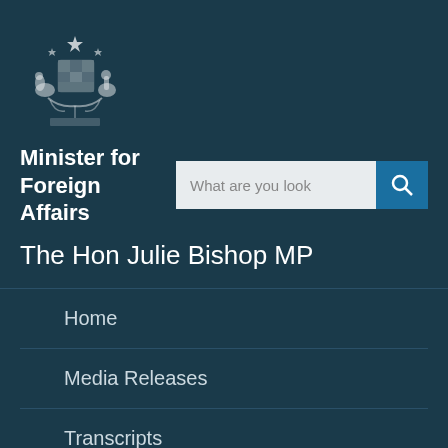[Figure (logo): Australian Government Coat of Arms]
Minister for Foreign Affairs
The Hon Julie Bishop MP
Home
Media Releases
Transcripts
Back to top